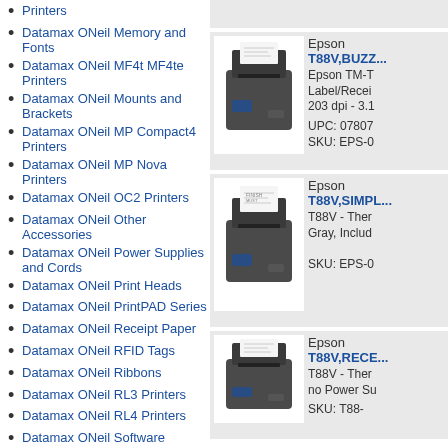Datamax ONeil Memory and Fonts
Datamax ONeil MF4t MF4te Printers
Datamax ONeil Mounts and Brackets
Datamax ONeil MP Compact4 Printers
Datamax ONeil MP Nova Printers
Datamax ONeil OC2 Printers
Datamax ONeil Other Accessories
Datamax ONeil Power Supplies and Cords
Datamax ONeil Print Heads
Datamax ONeil PrintPAD Series
Datamax ONeil Receipt Paper
Datamax ONeil RFID Tags
Datamax ONeil Ribbons
Datamax ONeil RL3 Printers
Datamax ONeil RL4 Printers
Datamax ONeil Software
Datamax ONeil Spare Parts
Datamax ONeil Tickets and Tags
[Figure (photo): Epson thermal printer T88V product photo, dark gray, with receipt paper]
Epson T88V,BUZZ... Epson TM-T Label/Recei 203 dpi - 3.1 UPC: 07807 SKU: EPS-0
[Figure (photo): Epson thermal printer T88V product photo, dark gray, with receipt paper]
Epson T88V,SIMPL... T88V - Ther Gray, Includ SKU: EPS-0
[Figure (photo): Epson thermal printer T88V product photo, dark gray]
Epson T88V,RECE... T88V - Ther no Power Su SKU: T88-